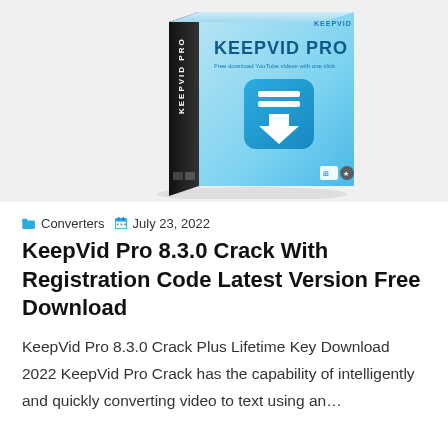[Figure (photo): KeepVid Pro software box product image with blue download arrow icon on front, black spine with 'KEEPVID PRO' text, blue gradient background with 'KEEPVID PRO' branding and download icon]
Converters   July 23, 2022
KeepVid Pro 8.3.0 Crack With Registration Code Latest Version Free Download
KeepVid Pro 8.3.0 Crack Plus Lifetime Key Download 2022 KeepVid Pro Crack has the capability of intelligently and quickly converting video to text using an…